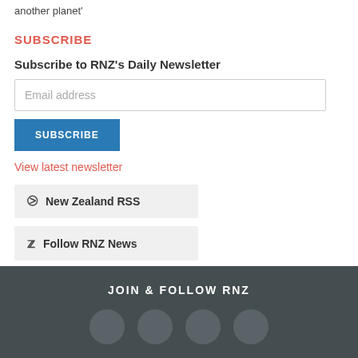another planet'
SUBSCRIBE
Subscribe to RNZ's Daily Newsletter
Email address
SUBSCRIBE
View latest newsletter
New Zealand RSS
Follow RNZ News
JOIN & FOLLOW RNZ